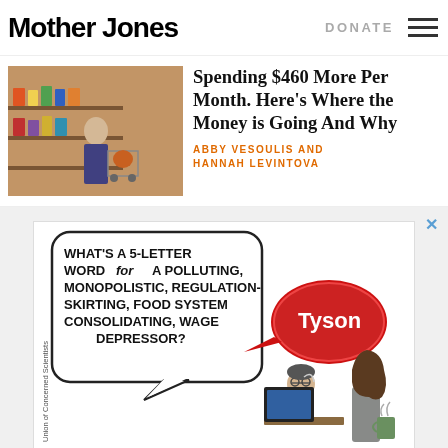Mother Jones | DONATE
Spending $460 More Per Month. Here’s Where the Money is Going And Why
ABBY VESOULIS AND HANNAH LEVINTOVA
[Figure (illustration): Cartoon advertisement showing a crossword puzzle clue: 'What’s a 5-letter word for a polluting, monopolistic, regulation-skirting, food system consolidating, wage depressor?' with a Tyson speech bubble answer. Characters of a man and woman are shown. Union of Concerned Scientists branding visible.]